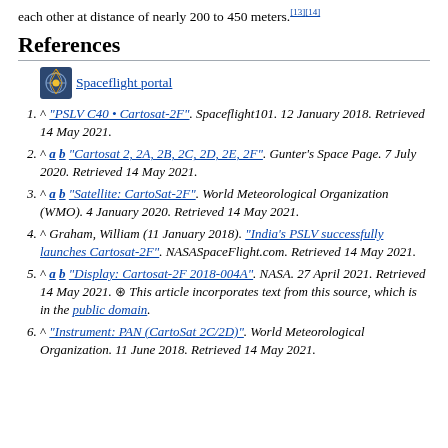each other at distance of nearly 200 to 450 meters.[13][14]
References
Spaceflight portal
^ "PSLV C40 • Cartosat-2F". Spaceflight101. 12 January 2018. Retrieved 14 May 2021.
^ a b "Cartosat 2, 2A, 2B, 2C, 2D, 2E, 2F". Gunter's Space Page. 7 July 2020. Retrieved 14 May 2021.
^ a b "Satellite: CartoSat-2F". World Meteorological Organization (WMO). 4 January 2020. Retrieved 14 May 2021.
^ Graham, William (11 January 2018). "India's PSLV successfully launches Cartosat-2F". NASASpaceFlight.com. Retrieved 14 May 2021.
^ a b "Display: Cartosat-2F 2018-004A". NASA. 27 April 2021. Retrieved 14 May 2021. This article incorporates text from this source, which is in the public domain.
^ "Instrument: PAN (CartoSat 2C/2D)". World Meteorological Organization. 11 June 2018. Retrieved 14 May 2021.